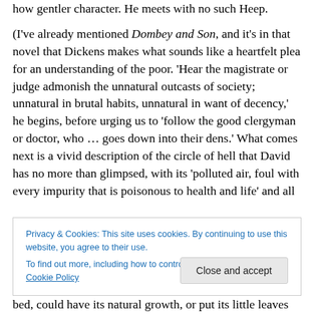how gentler character. He meets with no such Heep. (I've already mentioned Dombey and Son, and it's in that novel that Dickens makes what sounds like a heartfelt plea for an understanding of the poor. 'Hear the magistrate or judge admonish the unnatural outcasts of society; unnatural in brutal habits, unnatural in want of decency,' he begins, before urging us to 'follow the good clergyman or doctor, who … goes down into their dens.' What comes next is a vivid description of the circle of hell that David has no more than glimpsed, with its 'polluted air, foul with every impurity that is poisonous to health and life' and all
Privacy & Cookies: This site uses cookies. By continuing to use this website, you agree to their use. To find out more, including how to control cookies, see here: Cookie Policy
bed, could have its natural growth, or put its little leaves on